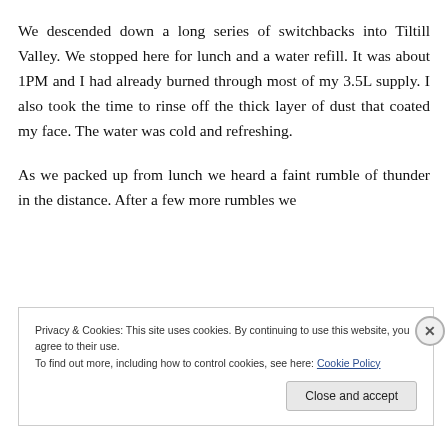We descended down a long series of switchbacks into Tiltill Valley. We stopped here for lunch and a water refill. It was about 1PM and I had already burned through most of my 3.5L supply. I also took the time to rinse off the thick layer of dust that coated my face. The water was cold and refreshing.
As we packed up from lunch we heard a faint rumble of thunder in the distance. After a few more rumbles we
Privacy & Cookies: This site uses cookies. By continuing to use this website, you agree to their use.
To find out more, including how to control cookies, see here: Cookie Policy
Close and accept